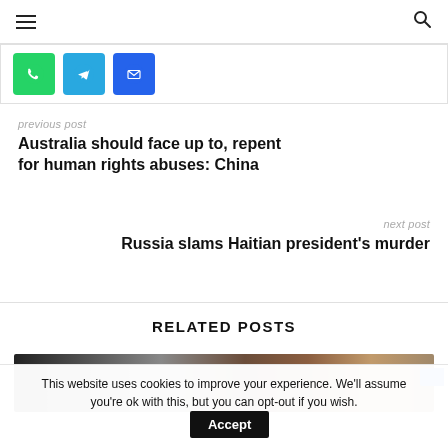Navigation bar with hamburger menu and search icon
[Figure (other): Three social share buttons: WhatsApp (green), Telegram (blue), Email (navy blue)]
previous post
Australia should face up to, repent for human rights abuses: China
next post
Russia slams Haitian president's murder
RELATED POSTS
[Figure (photo): Partial thumbnail photo strip showing dark and brown tones]
This website uses cookies to improve your experience. We'll assume you're ok with this, but you can opt-out if you wish. Accept